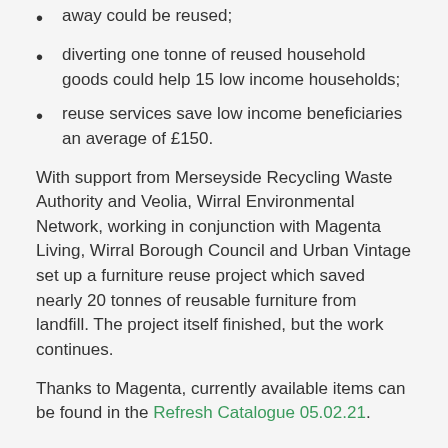away could be reused;
diverting one tonne of reused household goods could help 15 low income households;
reuse services save low income beneficiaries an average of £150.
With support from Merseyside Recycling Waste Authority and Veolia, Wirral Environmental Network, working in conjunction with Magenta Living, Wirral Borough Council and Urban Vintage set up a furniture reuse project which saved nearly 20 tonnes of reusable furniture from landfill. The project itself finished, but the work continues.
Thanks to Magenta, currently available items can be found in the Refresh Catalogue 05.02.21.